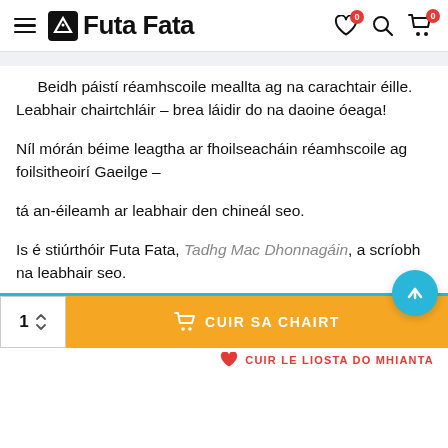Futa Fata
Beidh páistí réamhscoile meallta ag na carachtair éille. Leabhair chairtchláir – brea láidir do na daoine óeaga!
Níl mórán béime leagtha ar fhoilseacháin réamhscoile ag foilsitheoirí Gaeilge –
tá an-éileamh ar leabhair den chineál seo.
Is é stiúrthóir Futa Fata, Tadhg Mac Dhonnagáin, a scríobh na leabhair seo.